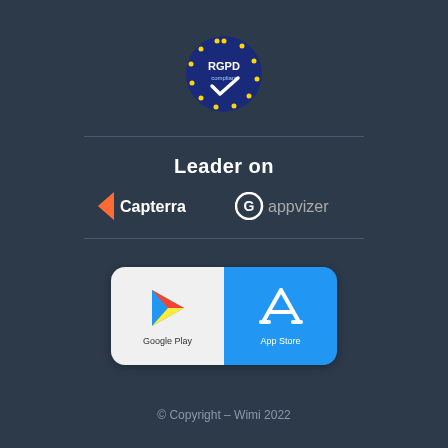[Figure (logo): RGPD compliant badge — dark blue circle with gold stars around the border and a white checkmark in the center, labeled RGPD compliant]
Leader on
[Figure (logo): Capterra logo (arrow icon followed by Capterra wordmark) and G2/appvizer logo side by side]
[Figure (logo): Google Play and App Store badges side by side]
© Copyright – Wimi 2022